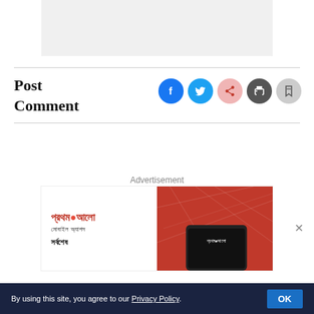[Figure (other): Gray placeholder box at top center]
Post Comment
[Figure (infographic): Social sharing icons: Facebook, Twitter, Share, Print, Bookmark]
Advertisement
[Figure (photo): Prothom Alo mobile app advertisement banner with Bengali text and smartphone image on red geometric background]
By using this site, you agree to our Privacy Policy.